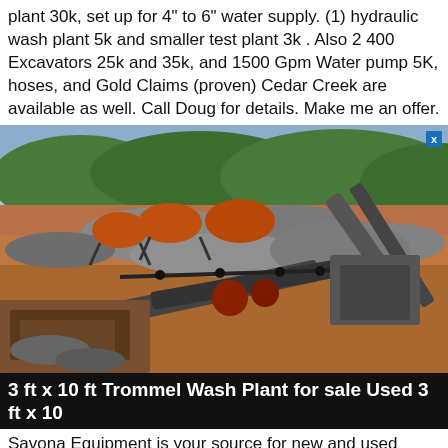plant 30k, set up for 4" to 6" water supply. (1) hydraulic wash plant 5k and smaller test plant 3k . Also 2 400 Excavators 25k and 35k, and 1500 Gpm Water pump 5K, hoses, and Gold Claims (proven) Cedar Creek are available as well. Call Doug for details. Make me an offer.
[Figure (photo): Outdoor photo of a large mining wash plant operation with industrial machinery, conveyor belts, ball mills, piles of gravel/ore, and forested hills in the background.]
3 ft x 10 ft Trommel Wash Plant for sale Used 3 ft x 10
Savona Equipment is your source for new and used